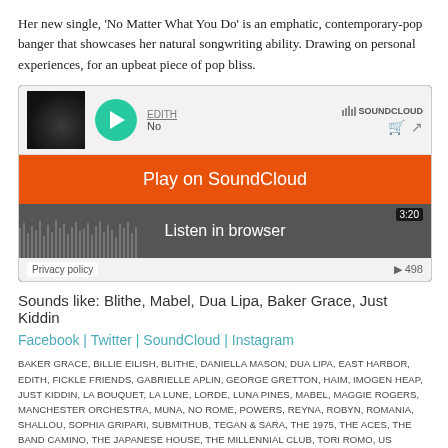Her new single, ‘No Matter What You Do’ is an emphatic, contemporary-pop banger that showcases her natural songwriting ability. Drawing on personal experiences, for an upbeat piece of pop bliss.
[Figure (screenshot): SoundCloud embedded player showing EDITH - No Matter What You Do, with an orange 'Play on SoundCloud' banner overlay and 'Listen in browser' option, duration 3:20, 498 plays.]
Sounds like: Blithe, Mabel, Dua Lipa, Baker Grace, Just Kiddin
Facebook | Twitter | SoundCloud | Instagram
BAKER GRACE, BILLIE EILISH, BLITHE, DANIELLA MASON, DUA LIPA, EAST HARBOR, EDITH, FICKLE FRIENDS, GABRIELLE APLIN, GEORGE GRETTON, HAIM, IMOGEN HEAP, JUST KIDDIN, LA BOUQUET, LA LUNE, LORDE, LUNA PINES, MABEL, MAGGIE ROGERS, MANCHESTER ORCHESTRA, MUNA, NO ROME, POWERS, REYNA, ROBYN, ROMANIA, SHALLOU, SOPHIA GRIPARI, SUBMITHUB, TEGAN & SARA, THE 1975, THE ACES, THE BAND CAMINO, THE JAPANESE HOUSE, THE MILLENNIAL CLUB, TORI ROMO, US
[Figure (other): Tumblr button and Tweet button for sharing]
Tweet